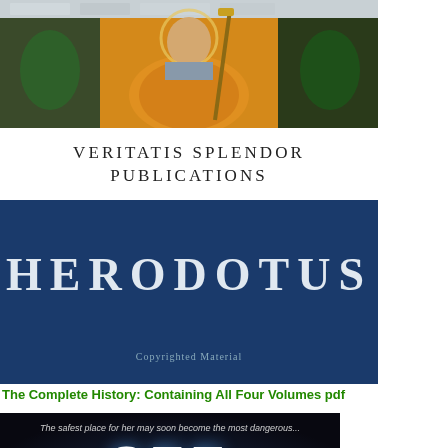[Figure (illustration): Top portion of a book cover showing a medieval-style religious or historical figure painting (Veritatis Splendor Publications book), with decorative stonework and an orange/gold robed figure holding a staff]
VERITATIS SPLENDOR
PUBLICATIONS
[Figure (illustration): Dark navy blue book cover with large white bold text reading HERODOTUS, with 'Copyrighted Material' watermark text in lighter color]
The Complete History: Containing All Four Volumes pdf
[Figure (illustration): Book cover for 'See No Evil' Brotherhood #1, dark background with glowing blue effects, large bold white text SEE NO EVIL, tagline 'The safest place for her may soon become the most dangerous...' in top, and BROTHERHOOD #1 in orange at bottom]